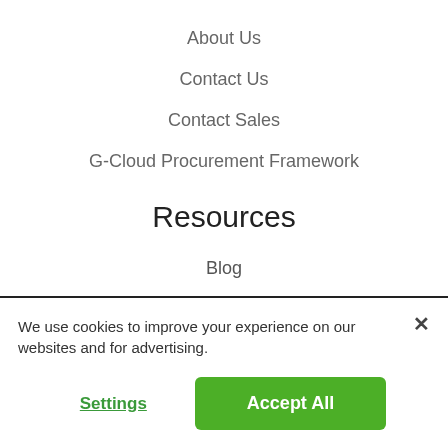About Us
Contact Us
Contact Sales
G-Cloud Procurement Framework
Resources
Blog
Help Centre 🔒
We use cookies to improve your experience on our websites and for advertising.
Settings
Accept All